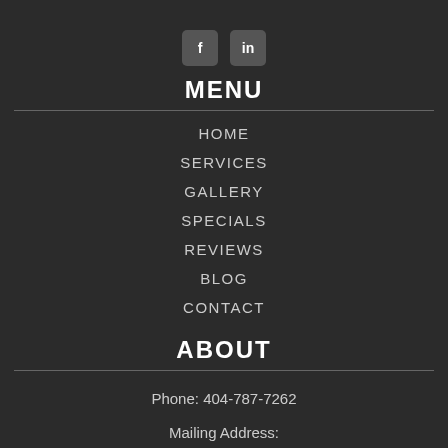[Figure (other): Social media icons: Facebook (f) and LinkedIn (in) as dark rounded square buttons]
MENU
HOME
SERVICES
GALLERY
SPECIALS
REVIEWS
BLOG
CONTACT
ABOUT
Phone: 404-787-7262
Mailing Address:
609 Ravenwood Dr.